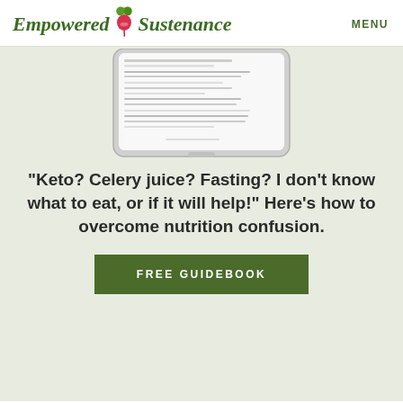Empowered Sustenance   MENU
[Figure (screenshot): Screenshot of a tablet device showing a document/guidebook page with several lines of small text/questions about nutrition topics]
“Keto? Celery juice? Fasting? I don’t know what to eat, or if it will help!” Here’s how to overcome nutrition confusion.
FREE GUIDEBOOK